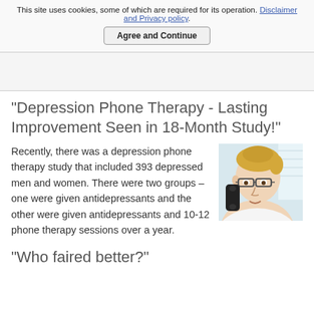This site uses cookies, some of which are required for its operation. Disclaimer and Privacy policy.
Agree and Continue
"Depression Phone Therapy - Lasting Improvement Seen in 18-Month Study!"
[Figure (photo): Blonde woman wearing glasses talking on a phone, side profile view]
Recently, there was a depression phone therapy study that included 393 depressed men and women. There were two groups – one were given antidepressants and the other were given antidepressants and 10-12 phone therapy sessions over a year.
"Who faired better?"